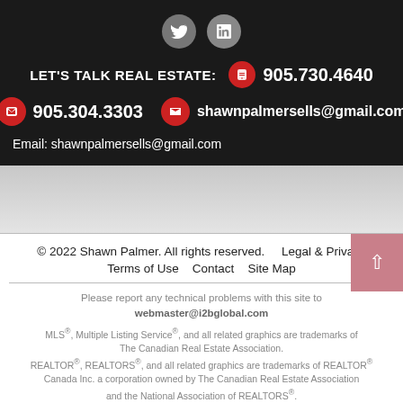[Figure (other): Twitter and LinkedIn social media icons (circular gray buttons)]
LET'S TALK REAL ESTATE:  905.730.4640
905.304.3303   shawnpalmersells@gmail.com
Email: shawnpalmersells@gmail.com
© 2022 Shawn Palmer. All rights reserved.    Legal & Privacy
Terms of Use   Contact   Site Map
Please report any technical problems with this site to webmaster@i2bglobal.com
MLS®, Multiple Listing Service®, and all related graphics are trademarks of The Canadian Real Estate Association. REALTOR®, REALTORS®, and all related graphics are trademarks of REALTOR® Canada Inc. a corporation owned by The Canadian Real Estate Association and the National Association of REALTORS®.